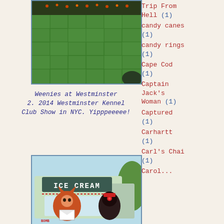[Figure (photo): Photo of a green grass/turf surface, appears to be a dog show venue floor]
Weenies at Westminster
2. 2014 Westminster Kennel Club Show in NYC. Yipppeeeee!
Trip From Hell (1)
candy canes (1)
candy rings (1)
Cape Cod (1)
Captain Jack's Woman (1)
Captured (1)
Carhartt (1)
Carl's Chai (1)
Carol...
[Figure (illustration): Painting/illustration of an ice cream truck with a fox character holding an envelope and a dark bird character, with 'ICE CREAM' sign and 'BOMB POP' text visible]